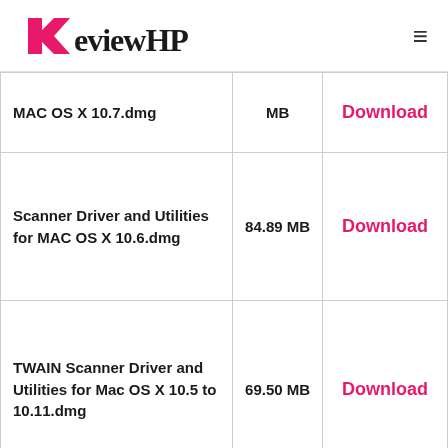ReviewHP
| File | Size | Action |
| --- | --- | --- |
| MAC OS X 10.7.dmg | MB | Download |
| Scanner Driver and Utilities for MAC OS X 10.6.dmg | 84.89 MB | Download |
| TWAIN Scanner Driver and Utilities for Mac OS X 10.5 to 10.11.dmg | 69.50 MB | Download |